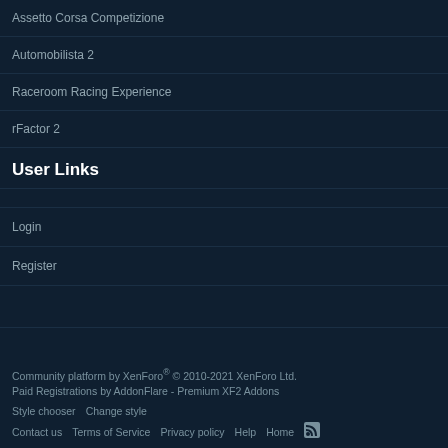Assetto Corsa Competizione
Automobilista 2
Raceroom Racing Experience
rFactor 2
User Links
Login
Register
Community platform by XenForo® © 2010-2021 XenForo Ltd.
Paid Registrations by AddonFlare - Premium XF2 Addons
Style chooser   Change style
Contact us   Terms of Service   Privacy policy   Help   Home
[Figure (other): RSS feed icon]